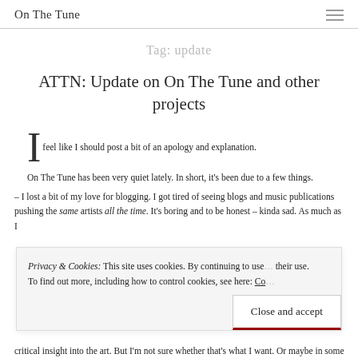On The Tune
Tag: update
ATTN: Update on On The Tune and other projects
I feel like I should post a bit of an apology and explanation.
On The Tune has been very quiet lately. In short, it’s been due to a few things.
– I lost a bit of my love for blogging. I got tired of seeing blogs and music publications pushing the same artists all the time. It’s boring and to be honest – kinda sad. As much as I
Privacy & Cookies: This site uses cookies. By continuing to use this website, you agree to their use.
To find out more, including how to control cookies, see here: Co...
Close and accept
critical insight into the art. But I’m not sure whether that’s what I want. Or maybe in some